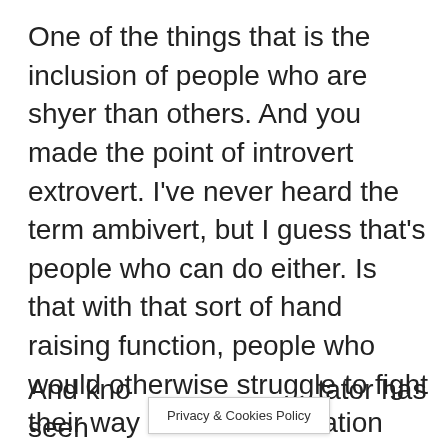One of the things that is the inclusion of people who are shyer than others. And you made the point of introvert extrovert. I've never heard the term ambivert, but I guess that's people who can do either. Is that with that sort of hand raising function, people who would otherwise struggle to fight their way into a conversation can put their hand up.
And kno[…]tator has seen
Privacy & Cookies Policy